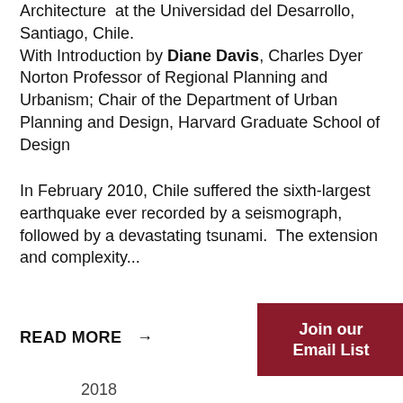Architecture at the Universidad del Desarrollo, Santiago, Chile. With Introduction by Diane Davis, Charles Dyer Norton Professor of Regional Planning and Urbanism; Chair of the Department of Urban Planning and Design, Harvard Graduate School of Design
In February 2010, Chile suffered the sixth-largest earthquake ever recorded by a seismograph, followed by a devastating tsunami. The extension and complexity...
READ MORE →
Join our Email List
2018